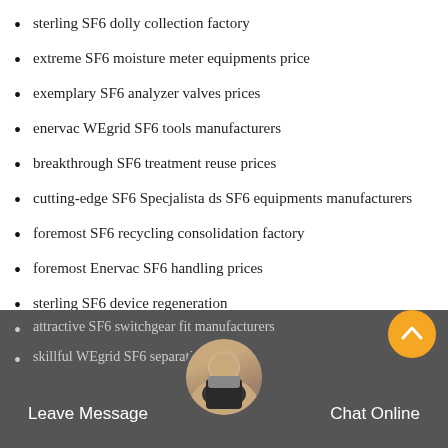sterling SF6 dolly collection factory
extreme SF6 moisture meter equipments price
exemplary SF6 analyzer valves prices
enervac WEgrid SF6 tools manufacturers
breakthrough SF6 treatment reuse prices
cutting-edge SF6 Specjalista ds SF6 equipments manufacturers
foremost SF6 recycling consolidation factory
foremost Enervac SF6 handling prices
sterling SF6 device regeneration
SF6 multi analyzer system manual
forward G 225 s SF6 zero emission factory
excellent portable SF6 calibration prices
attractive SF6 switchgear fit manufacturers
skillful WEgrid SF6 separating pricing
Leave Message   Chat Online